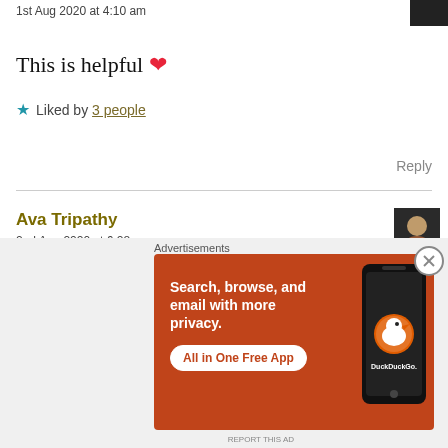1st Aug 2020 at 4:10 am
This is helpful ❤
★ Liked by 3 people
Reply
Ava Tripathy
2nd Aug 2020 at 6:28 am
Glad that you found so
Advertisements
[Figure (infographic): DuckDuckGo advertisement banner: orange background with text 'Search, browse, and email with more privacy. All in One Free App' and a phone image with DuckDuckGo logo]